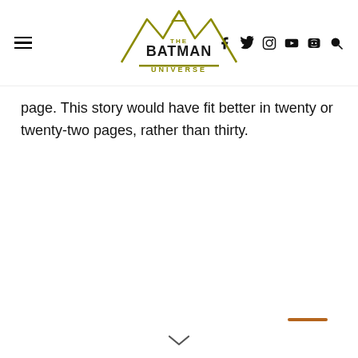The Batman Universe
page. This story would have fit better in twenty or twenty-two pages, rather than thirty.